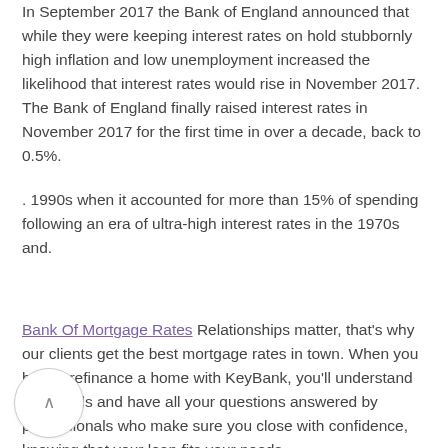In September 2017 the Bank of England announced that while they were keeping interest rates on hold stubbornly high inflation and low unemployment increased the likelihood that interest rates would rise in November 2017. The Bank of England finally raised interest rates in November 2017 for the first time in over a decade, back to 0.5%.
. 1990s when it accounted for more than 15% of spending following an era of ultra-high interest rates in the 1970s and.
Bank Of Mortgage Rates Relationships matter, that's why our clients get the best mortgage rates in town. When you buy or refinance a home with KeyBank, you'll understand the details and have all your questions answered by professionals who make sure you close with confidence, knowing that your loan fits your needs.